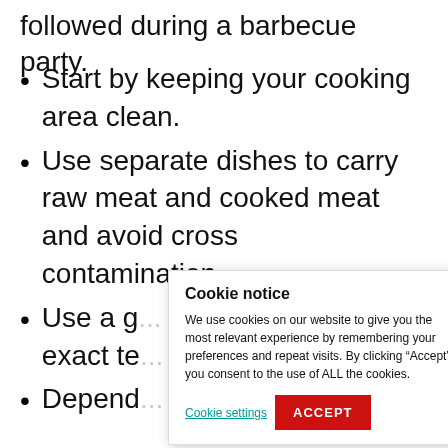followed during a barbecue party.
Start by keeping your cooking area clean.
Use separate dishes to carry raw meat and cooked meat and avoid cross contamination.
Use a g... food at... red the... exact te...
Depend... cooked... temper...
Cookie notice
We use cookies on our website to give you the most relevant experience by remembering your preferences and repeat visits. By clicking “Accept”, you consent to the use of ALL the cookies.
Cookie settings | ACCEPT